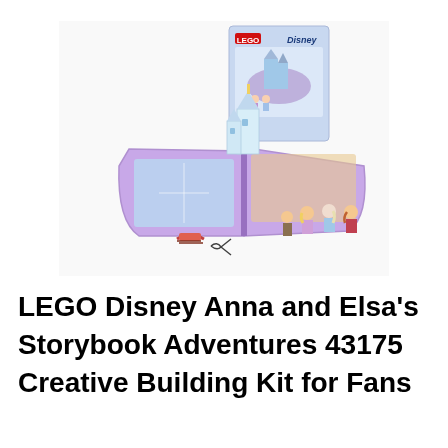[Figure (photo): LEGO Disney Anna and Elsa's Storybook Adventures 43175 product photo showing the box and the opened storybook playset with castle, mini-doll figures of Anna, Elsa, and other characters, and a small sled accessory]
LEGO Disney Anna and Elsa's Storybook Adventures 43175 Creative Building Kit for Fans